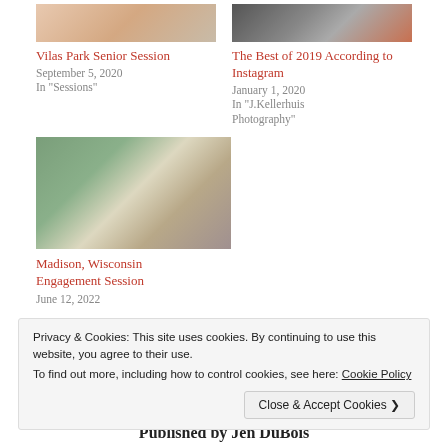[Figure (photo): Two portrait photos side by side - senior session thumbnails]
Vilas Park Senior Session
September 5, 2020
In "Sessions"
[Figure (photo): Grid of Instagram photos thumbnail]
The Best of 2019 According to Instagram
January 1, 2020
In "J.Kellerhuis Photography"
[Figure (photo): Couple in front of Wisconsin State Capitol building]
Madison, Wisconsin Engagement Session
June 12, 2022
Privacy & Cookies: This site uses cookies. By continuing to use this website, you agree to their use.
To find out more, including how to control cookies, see here: Cookie Policy
Close & Accept Cookies »
Published by Jen DuBois